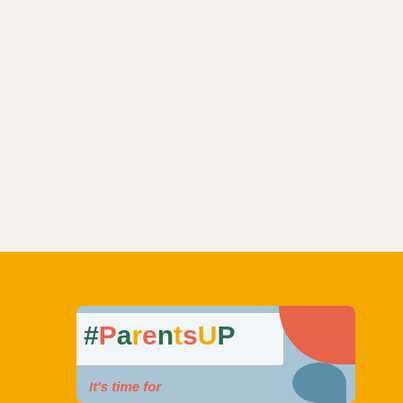[Figure (illustration): A promotional image for #ParentsUP campaign. Upper portion has a light cream/beige background. Lower portion has a bright yellow/amber background. In the lower section, a card with light blue background contains the hashtag '#ParentsUP' in colorful lettering (green, orange, yellow alternating colors) on a white semi-transparent strip, with an orange blob shape in the top right corner and a blue blob in the bottom right. Below the hashtag text reads 'It's time for' in orange italic font.]